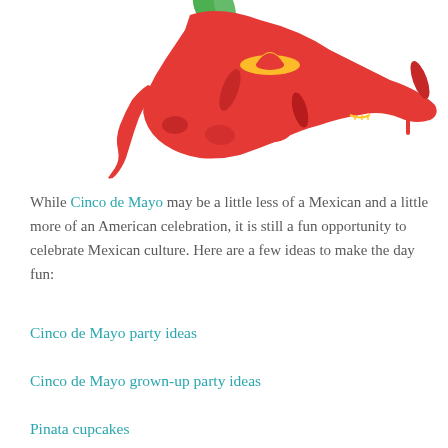[Figure (illustration): Decorative illustration of Mexico-shaped collage made of red Cinco de Mayo icons including sombreros, maracas, chili peppers, skulls, and other Mexican cultural symbols, with green accents at top]
While Cinco de Mayo may be a little less of a Mexican and a little more of an American celebration, it is still a fun opportunity to celebrate Mexican culture. Here are a few ideas to make the day fun:
Cinco de Mayo party ideas
Cinco de Mayo grown-up party ideas
Pinata cupcakes